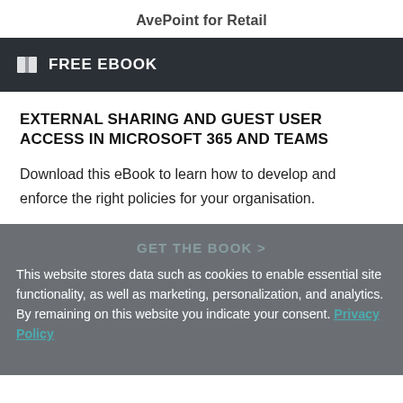AvePoint for Retail
FREE EBOOK
EXTERNAL SHARING AND GUEST USER ACCESS IN MICROSOFT 365 AND TEAMS
Download this eBook to learn how to develop and enforce the right policies for your organisation.
This website stores data such as cookies to enable essential site functionality, as well as marketing, personalization, and analytics. By remaining on this website you indicate your consent. Privacy Policy